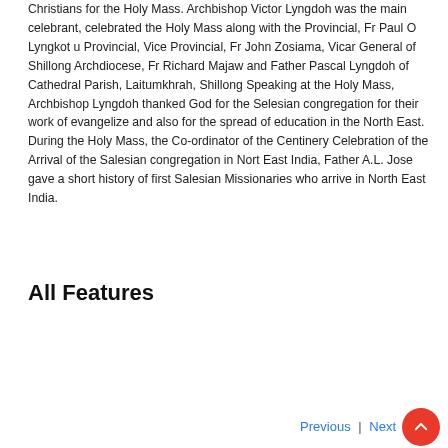Christians for the Holy Mass. Archbishop Victor Lyngdoh was the main celebrant, celebrated the Holy Mass along with the Provincial, Fr Paul O Lyngkot u Provincial, Vice Provincial, Fr John Zosiama, Vicar General of Shillong Archdiocese, Fr Richard Majaw and Father Pascal Lyngdoh of Cathedral Parish, Laitumkhrah, Shillong Speaking at the Holy Mass, Archbishop Lyngdoh thanked God for the Selesian congregation for their work of evangelize and also for the spread of education in the North East. During the Holy Mass, the Co-ordinator of the Centinery Celebration of the Arrival of the Salesian congregation in Nort East India, Father A.L. Jose gave a short history of first Salesian Missionaries who arrive in North East India.
All Features
Previous | Next